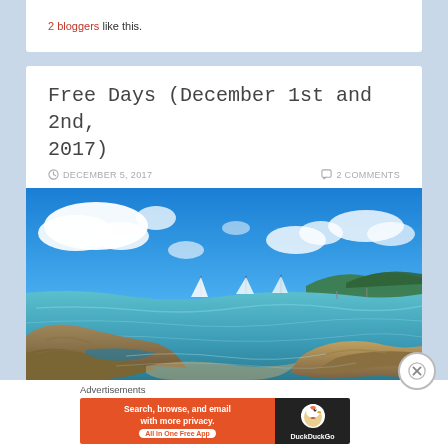2 bloggers like this.
Free Days (December 1st and 2nd, 2017)
DECEMBER 5, 2017   2 COMMENTS
[Figure (photo): Panoramic coastal scene with blue sky, white clouds, turquoise water, sailboats, rocky foreground, green hills in background]
Advertisements
[Figure (screenshot): DuckDuckGo advertisement banner: 'Search, browse, and email with more privacy. All in One Free App' with DuckDuckGo logo]